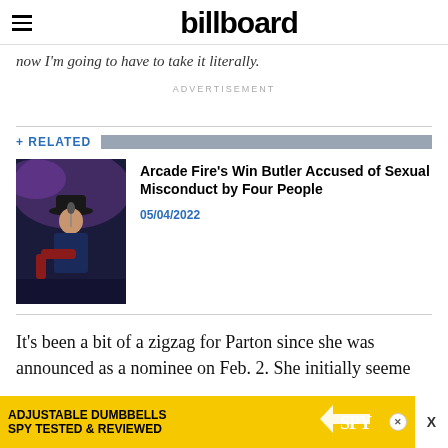billboard
now I'm going to have to take it literally.
ADVERTISEMENT
+ RELATED
[Figure (photo): Man in hat playing guitar on stage with purple stage lighting]
Arcade Fire's Win Butler Accused of Sexual Misconduct by Four People
05/04/2022
It's been a bit of a zigzag for Parton since she was announced as a nominee on Feb. 2. She initially seeme
[Figure (screenshot): Advertisement: ADJUSTABLE DUMBBELLS SPY TESTED & REVIEWED with yellow background and SPY logo]